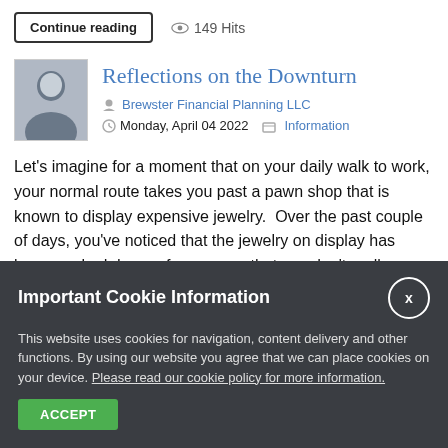Continue reading  149 Hits
Reflections on the Downturn
Brewster Financial Planning LLC
Monday, April 04 2022   Information
Let's imagine for a moment that on your daily walk to work, your normal route takes you past a pawn shop that is known to display expensive jewelry.  Over the past couple of days, you've noticed that the jewelry on display has been marked down—for reasons that you don't really understand.  All you know is that, in the past, these
Important Cookie Information
This website uses cookies for navigation, content delivery and other functions. By using our website you agree that we can place cookies on your device. Please read our cookie policy for more information.
ACCEPT